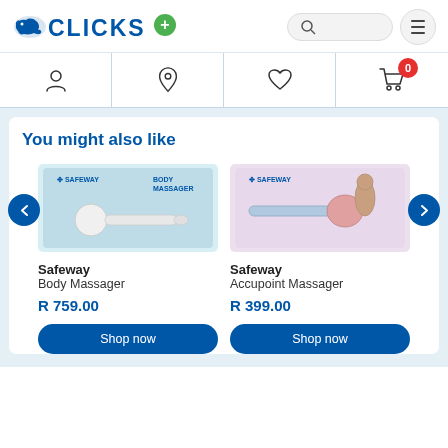[Figure (logo): Clicks pharmacy logo with blue rhino icon, CLICKS text in dark blue, and a green plus circle]
[Figure (screenshot): Navigation header icons: search bar, hamburger menu, person/account icon, location pin, heart/wishlist, and shopping cart with 0 badge]
You might also like
[Figure (photo): Safeway Body Massager product image on light blue box packaging]
[Figure (photo): Safeway Accupoint Massager product image on pink/purple box packaging]
Safeway
Body Massager

R 759.00
Safeway
Accupoint Massager

R 399.00
Shop now
Shop now